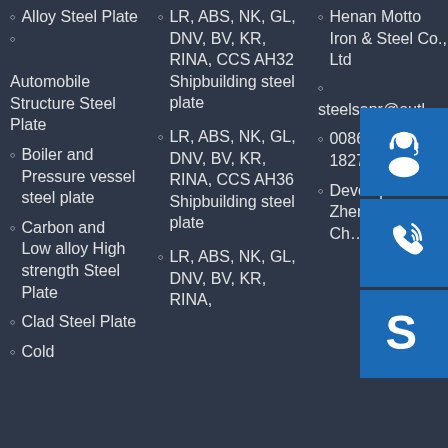Alloy Steel Plate
Automobile Structure Steel Plate
Boiler and Pressure vessel steel plate
Carbon and Low alloy High strength Steel Plate
Clad Steel Plate
Cold
LR, ABS, NK, GL, DNV, BV, KR, RINA, CCS AH32 Shipbuilding steel plate
LR, ABS, NK, GL, DNV, BV, KR, RINA, CCS AH36 Shipbuilding steel plate
LR, ABS, NK, GL, DNV, BV, KR, RINA,
Henan Motto Iron & Steel Co., Ltd
steelsapr@outl…
0086-371-86… 1827
Development… Zhengzhou, China…
[Figure (illustration): Three blue icon boxes: headset/customer support icon, phone/call icon, and Skype icon]